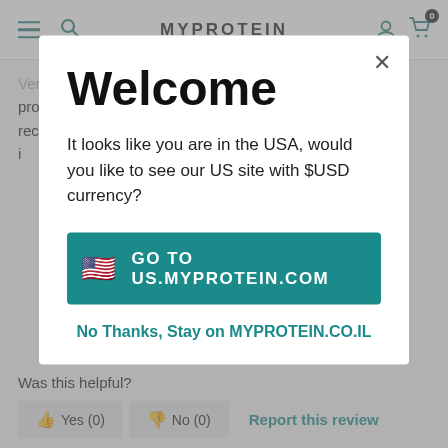MYPROTEIN
Very happy with the mixing consistency and a great product overall. love all the flavours I've tried. Highly recommend this website has everything you need and i
[Figure (screenshot): Modal dialog popup on myprotein.co.il website asking user if they want to switch to the US site with USD currency. Contains a 'Welcome' heading, descriptive text, a teal 'Go to US.MYPROTEIN.COM' button with US flag emoji, and a 'No Thanks, Stay on MYPROTEIN.CO.IL' secondary link.]
Was this helpful?
👍 Yes (0)   👎 No (0)   Report this review